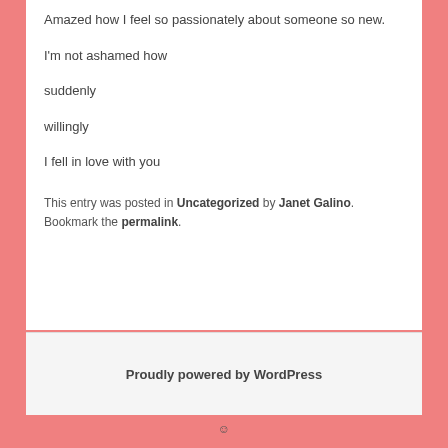Amazed how I feel so passionately about someone so new.
I'm not ashamed how
suddenly
willingly
I fell in love with you
This entry was posted in Uncategorized by Janet Galino. Bookmark the permalink.
Proudly powered by WordPress